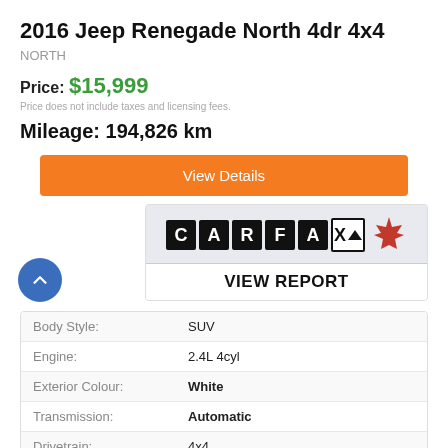2016 Jeep Renegade North 4dr 4x4
NORTH
Price: $15,999
Price does not include taxes and licensing fees.
Mileage: 194,826 km
[Figure (other): Orange 'View Details' button]
[Figure (logo): CARFAX Canada logo with maple leaf and VIEW REPORT button]
|  |  |
| --- | --- |
| Body Style: | SUV |
| Engine: | 2.4L 4cyl |
| Exterior Colour: | White |
| Transmission: | Automatic |
| Drivetrain: | 4x4 |